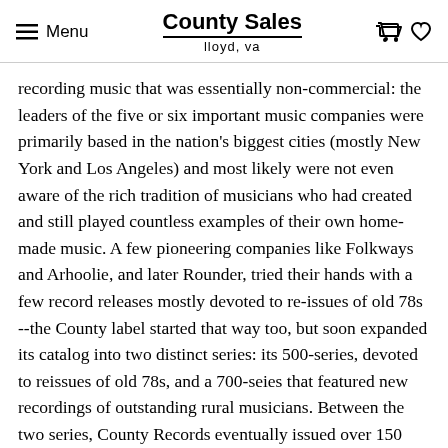Menu | County Sales lloyd, va
recording music that was essentially non-commercial: the leaders of the five or six important music companies were primarily based in the nation's biggest cities (mostly New York and Los Angeles) and most likely were not even aware of the rich tradition of musicians who had created and still played countless examples of their own home-made music. A few pioneering companies like Folkways and Arhoolie, and later Rounder, tried their hands with a few record releases mostly devoted to re-issues of old 78s --the County label started that way too, but soon expanded its catalog into two distinct series: its 500-series, devoted to reissues of old 78s, and a 700-seies that featured new recordings of outstanding rural musicians. Between the two series, County Records eventually issued over 150 long-playing records, becoming the leading label exclusively devoted to "old-time" music.